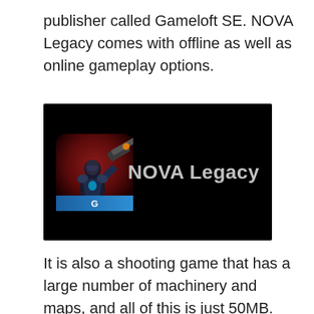publisher called Gameloft SE. NOVA Legacy comes with offline as well as online gameplay options.
[Figure (screenshot): NOVA Legacy game promotional banner: black background with an armored sci-fi warrior holding a large weapon on the left (game icon), and bold gray text 'NOVA Legacy' on the right.]
It is also a shooting game that has a large number of machinery and maps, and all of this is just 50MB. The game offers multiplayer